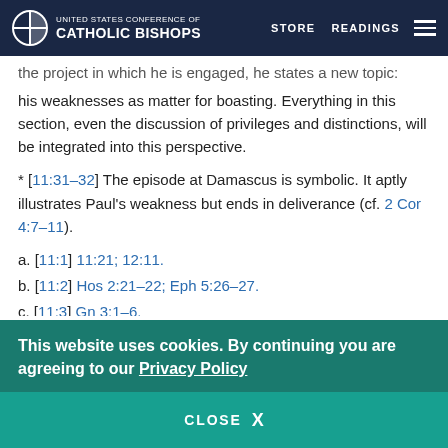UNITED STATES CONFERENCE OF CATHOLIC BISHOPS | STORE | READINGS
the project in which he is engaged, he states a new topic: his weaknesses as matter for boasting. Everything in this section, even the discussion of privileges and distinctions, will be integrated into this perspective.
* [11:31–32] The episode at Damascus is symbolic. It aptly illustrates Paul's weakness but ends in deliverance (cf. 2 Cor 4:7–11).
a. [11:1] 11:21; 12:11.
b. [11:2] Hos 2:21–22; Eph 5:26–27.
c. [11:3] Gn 3:1–6.
d. [11:4] Gal 1:6–9.
This website uses cookies. By continuing you are agreeing to our Privacy Policy
CLOSE X